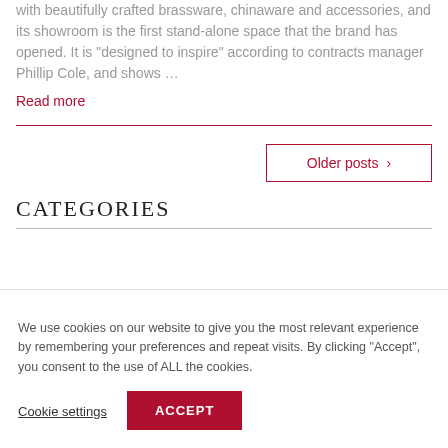with beautifully crafted brassware, chinaware and accessories, and its showroom is the first stand-alone space that the brand has opened. It is "designed to inspire" according to contracts manager Phillip Cole, and shows …
Read more
Older posts
CATEGORIES
We use cookies on our website to give you the most relevant experience by remembering your preferences and repeat visits. By clicking "Accept", you consent to the use of ALL the cookies.
Cookie settings
ACCEPT